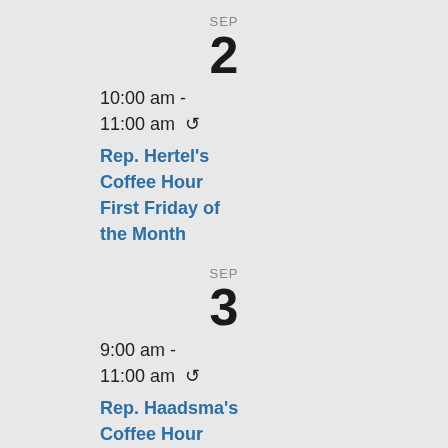SEP
2
10:00 am - 11:00 am ↻
Rep. Hertel's Coffee Hour First Friday of the Month
SEP
3
9:00 am - 11:00 am ↻
Rep. Haadsma's Coffee Hour First Saturday of the Month 9-11 AM
View Calendar